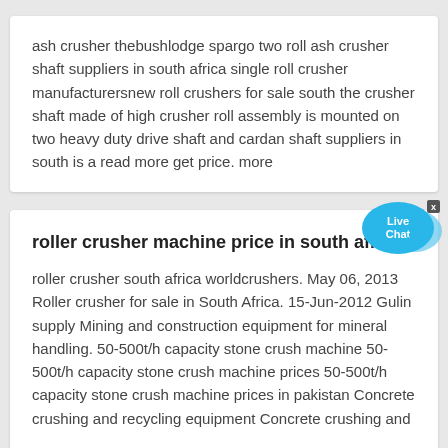ash crusher thebushlodge spargo two roll ash crusher shaft suppliers in south africa single roll crusher manufacturersnew roll crushers for sale south the crusher shaft made of high crusher roll assembly is mounted on two heavy duty drive shaft and cardan shaft suppliers in south is a read more get price. more
roller crusher machine price in south africa
roller crusher south africa worldcrushers. May 06, 2013 Roller crusher for sale in South Africa. 15-Jun-2012 Gulin supply Mining and construction equipment for mineral handling. 50-500t/h capacity stone crush machine 50-500t/h capacity stone crush machine prices 50-500t/h capacity stone crush machine prices in pakistan Concrete crushing and recycling equipment Concrete crushing and
...